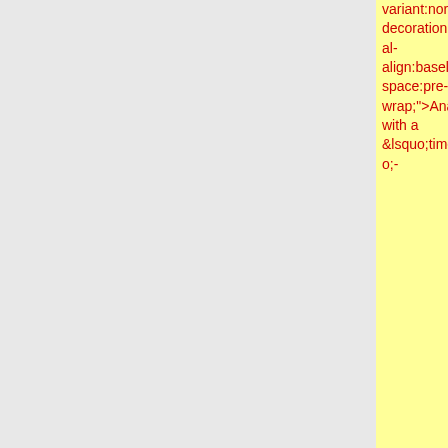variant:normal;text-decoration:none;vertical-align:baseline;white-space:pre-wrap;">Analyses run with a</span><span style="font-size:14.666666666666666px;font-family:Arial;color:#000000;background-color:transparent;font-weight:400;font-style:italic;font-variant:normal;text-decoration:none;vertical-align:baseline;white-space:pre-wrap;">&lsquo;timestamp&rsquo;</span><span style="font-size:14.666666666666666